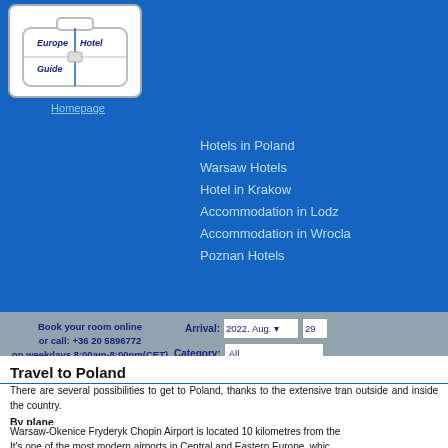[Figure (logo): Europe Hotel Guide logo showing a suitcase with 'Europe Hotel Guide' text]
Homepage
Hotels in Poland
Warsaw Hotels
Hotel in Krakow
Accommodation in Lodz
Accommodation in Wrocla
Poznan Hotels
Book your room online or call: +36 20 5896772 on weekdays 8:00am-8:00pm(CET)
Arrival: 2022. Aug. 29   Category: All
Travel to Poland
There are several possibilities to get to Poland, thanks to the extensive tran outside and inside the country.
By plane
Warsaw-Okenice Fryderyk Chopin Airport is located 10 kilometres from the It's one of the most modern airports in Central and Eastern Europe, whic well-equipped. Here you can resort various services of post office ba